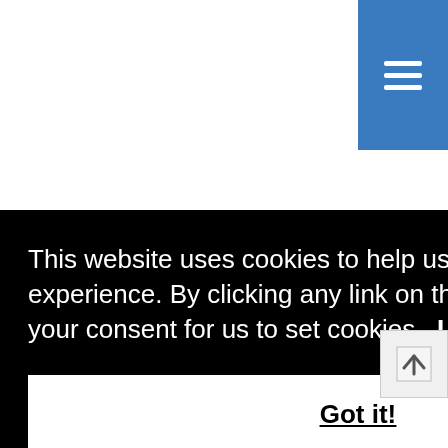[Figure (screenshot): Blue navigation menu button with three white horizontal lines (hamburger icon) in the top right corner of the page]
This website uses cookies to help us provide you a better experience. By clicking any link on this page you are giving your consent for us to set cookies. Learn more
Got it!
d hool
in Asia. The founders, some of the best minds